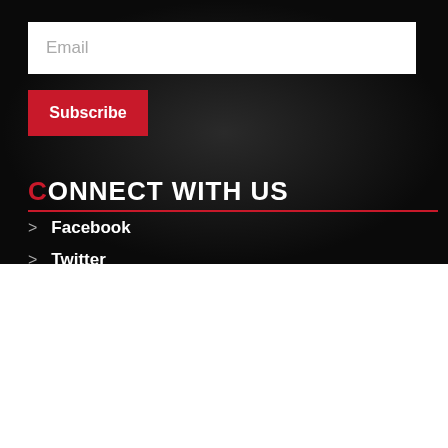Email
Subscribe
CONNECT WITH US
> Facebook
> Twitter
We use cookies on our website to give you the most relevant experience by remembering your preferences and repeat visits. By clicking “Accept All”, you consent to the use of ALL the cookies. However, you may visit "Cookie Settings" to provide a controlled consent.
Cookie Settings
Accept All